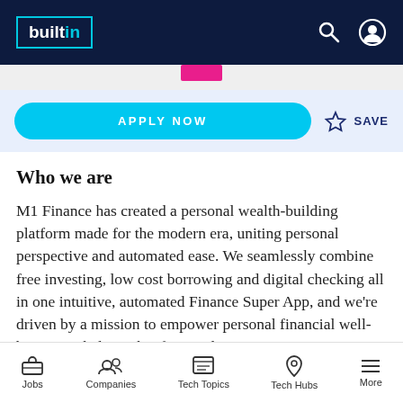builtin
APPLY NOW
SAVE
Who we are
M1 Finance has created a personal wealth-building platform made for the modern era, uniting personal perspective and automated ease. We seamlessly combine free investing, low cost borrowing and digital checking all in one intuitive, automated Finance Super App, and we're driven by a mission to empower personal financial well-being. We believe that financial
Jobs  Companies  Tech Topics  Tech Hubs  More